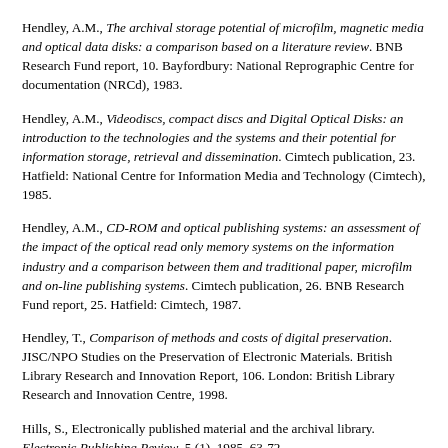Hendley, A.M., The archival storage potential of microfilm, magnetic media and optical data disks: a comparison based on a literature review. BNB Research Fund report, 10. Bayfordbury: National Reprographic Centre for documentation (NRCd), 1983.
Hendley, A.M., Videodiscs, compact discs and Digital Optical Disks: an introduction to the technologies and the systems and their potential for information storage, retrieval and dissemination. Cimtech publication, 23. Hatfield: National Centre for Information Media and Technology (Cimtech), 1985.
Hendley, A.M., CD-ROM and optical publishing systems: an assessment of the impact of the optical read only memory systems on the information industry and a comparison between them and traditional paper, microfilm and on-line publishing systems. Cimtech publication, 26. BNB Research Fund report, 25. Hatfield: Cimtech, 1987.
Hendley, T., Comparison of methods and costs of digital preservation. JISC/NPO Studies on the Preservation of Electronic Materials. British Library Research and Innovation Report, 106. London: British Library Research and Innovation Centre, 1998.
Hills, S., Electronically published material and the archival library. Electronic Publishing Review, 5 (1), 1985, 63-72.